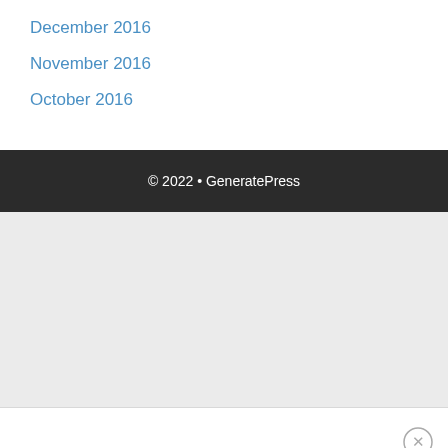December 2016
November 2016
October 2016
© 2022 • GeneratePress